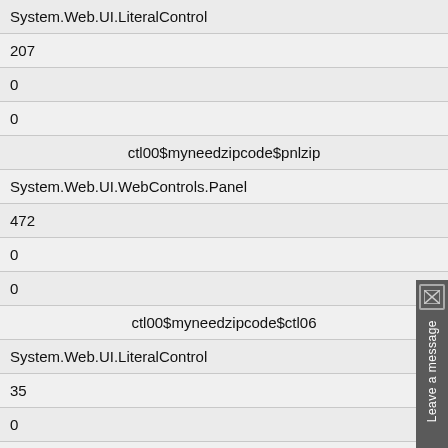| System.Web.UI.LiteralControl |
| 207 |
| 0 |
| 0 |
| ctl00$myneedzipcode$pnlzip |
| System.Web.UI.WebControls.Panel |
| 472 |
| 0 |
| 0 |
| ctl00$myneedzipcode$ctl06 |
| System.Web.UI.LiteralControl |
| 35 |
| 0 |
| 0 |
| ctl00$myneedzipcode$txtzip |
| System.Web.UI.WebControls.TextBox |